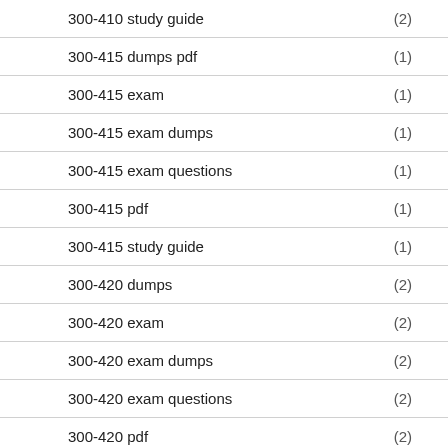300-410 study guide (2)
300-415 dumps pdf (1)
300-415 exam (1)
300-415 exam dumps (1)
300-415 exam questions (1)
300-415 pdf (1)
300-415 study guide (1)
300-420 dumps (2)
300-420 exam (2)
300-420 exam dumps (2)
300-420 exam questions (2)
300-420 pdf (2)